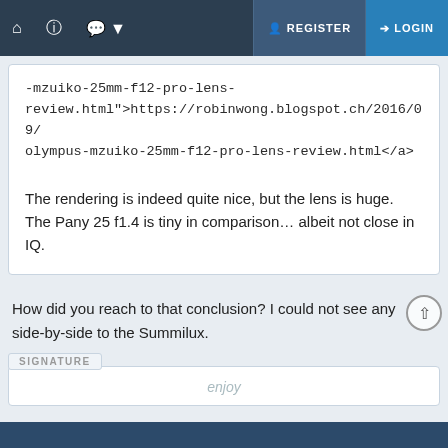Navigation bar with Home, Help, Chat, REGISTER, LOGIN
-mzuiko-25mm-f12-pro-lens-review.html">https://robinwong.blogspot.ch/2016/09/olympus-mzuiko-25mm-f12-pro-lens-review.html</a>
The rendering is indeed quite nice, but the lens is huge. The Pany 25 f1.4 is tiny in comparison... albeit not close in IQ.
How did you reach to that conclusion? I could not see any side-by-side to the Summilux.
enjoy